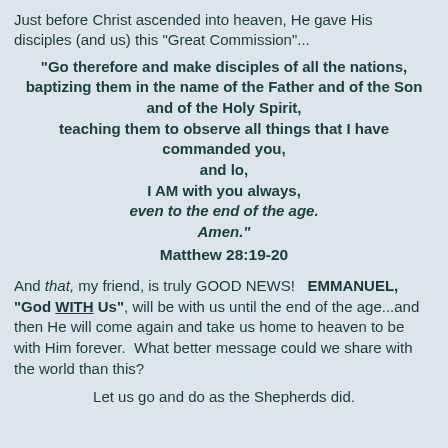Just before Christ ascended into heaven, He gave His disciples (and us) this "Great Commission"...
"Go therefore and make disciples of all the nations, baptizing them in the name of the Father and of the Son and of the Holy Spirit, teaching them to observe all things that I have commanded you, and lo, I AM with you always, even to the end of the age. Amen." Matthew 28:19-20
And that, my friend, is truly GOOD NEWS!   EMMANUEL, "God WITH Us", will be with us until the end of the age...and then He will come again and take us home to heaven to be with Him forever.  What better message could we share with the world than this?
Let us go and do as the Shepherds did.